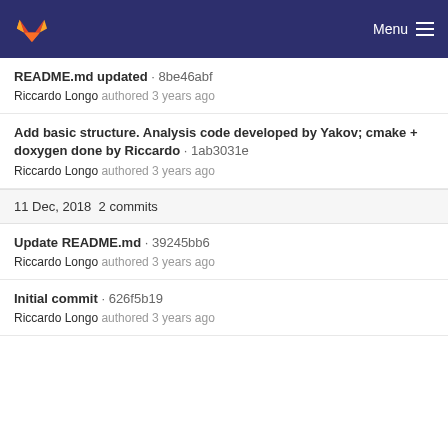GitLab — Menu
README.md updated · 8be46abf
Riccardo Longo authored 3 years ago
Add basic structure. Analysis code developed by Yakov; cmake + doxygen done by Riccardo · 1ab3031e
Riccardo Longo authored 3 years ago
11 Dec, 2018  2 commits
Update README.md · 39245bb6
Riccardo Longo authored 3 years ago
Initial commit · 626f5b19
Riccardo Longo authored 3 years ago